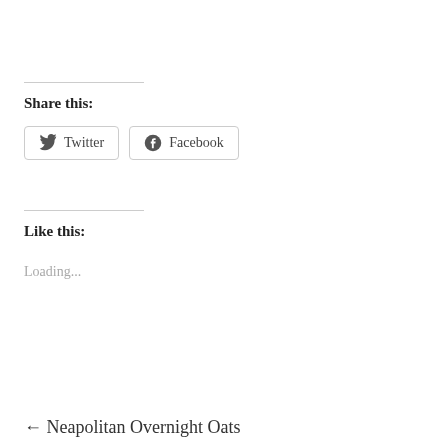Share this:
[Figure (other): Twitter share button with Twitter bird icon]
[Figure (other): Facebook share button with Facebook logo icon]
Like this:
Loading...
← Neapolitan Overnight Oats